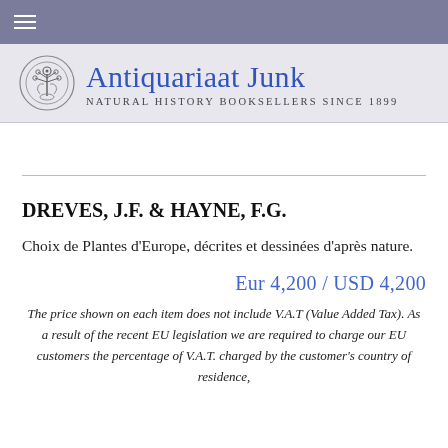Antiquariaat Junk — Natural History Booksellers since 1899
DREVES, J.F. & HAYNE, F.G.
Choix de Plantes d'Europe, décrites et dessinées d'après nature.
Eur 4,200 / USD 4,200
The price shown on each item does not include V.A.T (Value Added Tax). As a result of the recent EU legislation we are required to charge our EU customers the percentage of V.A.T. charged by the customer's country of residence,